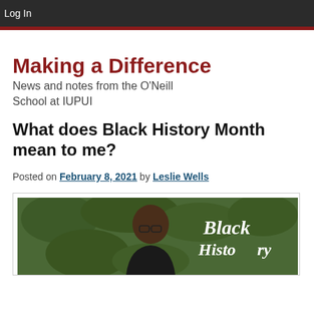Log In
Making a Difference
News and notes from the O'Neill School at IUPUI
What does Black History Month mean to me?
Posted on February 8, 2021 by Leslie Wells
[Figure (photo): Photo of a young man with glasses in front of green shrubbery, with 'Black History' text overlay in cursive white lettering on the right side.]